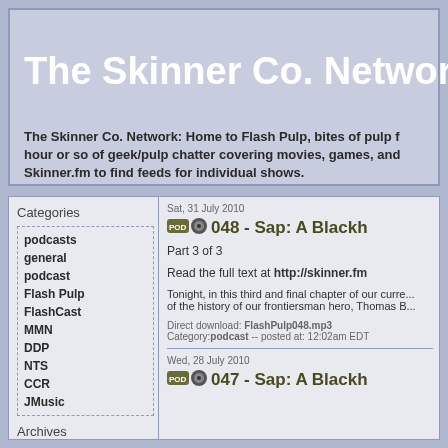The Skinner Co. Network
The Skinner Co. Network: Home to Flash Pulp, bites of pulp f... hour or so of geek/pulp chatter covering movies, games, and... Skinner.fm to find feeds for individual shows.
Categories
podcasts
general
podcast
Flash Pulp
FlashCast
MMN
DDP
NTS
CCR
JMusic
Archives
2022
August
June
Sat, 31 July 2010
048 - Sap: A Blackh...
Part 3 of 3
Read the full text at http://skinner.fm
Tonight, in this third and final chapter of our curre... of the history of our frontiersman hero, Thomas B...
Direct download: FlashPulp048.mp3 Category:podcast -- posted at: 12:02am EDT
Wed, 28 July 2010
047 - Sap: A Blackh...